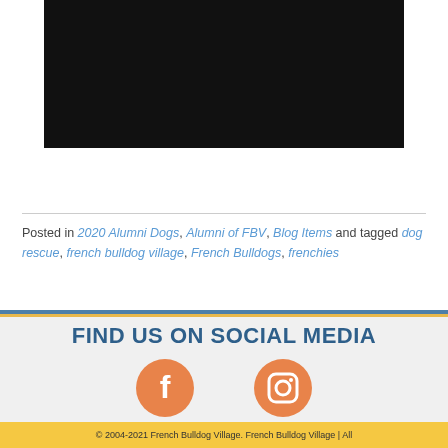[Figure (other): Black video embed placeholder rectangle]
Posted in 2020 Alumni Dogs, Alumni of FBV, Blog Items and tagged dog rescue, french bulldog village, French Bulldogs, frenchies
FIND US ON SOCIAL MEDIA
[Figure (other): Facebook and Instagram social media icons in orange]
© 2004-2021 French Bulldog Village. French Bulldog Village | All